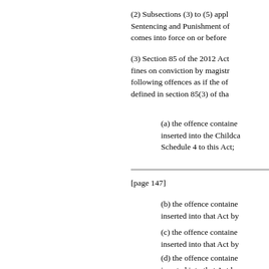(2) Subsections (3) to (5) appl... Sentencing and Punishment of... comes into force on or before
(3) Section 85 of the 2012 Act... fines on conviction by magist... following offences as if the of... defined in section 85(3) of tha
(a) the offence containe... inserted into the Childca... Schedule 4 to this Act;
[page 147]
(b) the offence containe... inserted into that Act by
(c) the offence containe... inserted into that Act by
(d) the offence containe... inserted into that Act by